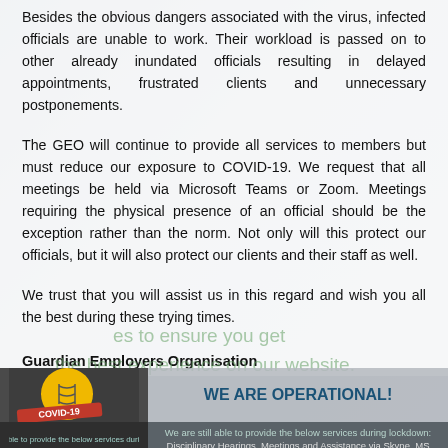Besides the obvious dangers associated with the virus, infected officials are unable to work. Their workload is passed on to other already inundated officials resulting in delayed appointments, frustrated clients and unnecessary postponements.
The GEO will continue to provide all services to members but must reduce our exposure to COVID-19. We request that all meetings be held via Microsoft Teams or Zoom. Meetings requiring the physical presence of an official should be the exception rather than the norm. Not only will this protect our officials, but it will also protect our clients and their staff as well.
We trust that you will assist us in this regard and wish you all the best during these trying times.
Guardian Employers Organisation
[Figure (infographic): Bottom banner showing COVID-19 logo with yellow circle, GEO letters, 'WE ARE OPERATIONAL!' heading, services text about Disciplinary Hearings, Meetings and Assistance via Skype, MS Teams, Zoom etc., and employer strategy documents offer.]